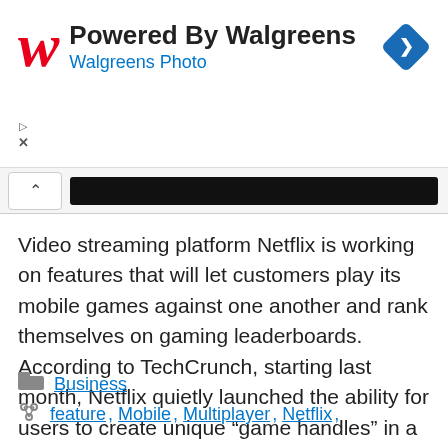[Figure (logo): Walgreens advertisement banner with red cursive W logo, text 'Powered By Walgreens' and 'Walgreens Photo', and a blue diamond navigation icon]
Video streaming platform Netflix is working on features that will let customers play its mobile games against one another and rank themselves on gaming leaderboards. According to TechCrunch, starting last month, Netflix quietly launched the ability for users to create unique “game handles” in a subset of its mobile ... Read more
Business
feature, Mobile, Multiplayer, Netflix,